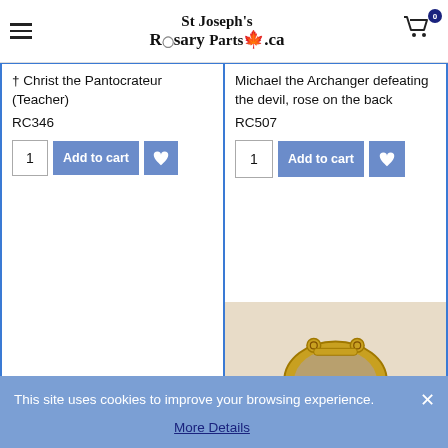St Joseph's Rosary Parts.ca
Christ the Pantocrateur (Teacher)
RC346
Michael the Archanger defeating the devil, rose on the back
RC507
[Figure (photo): Product image placeholder (empty white area)]
[Figure (photo): Gold-toned rosary centerpiece on fabric background]
This site uses cookies to improve your browsing experience.
More Details